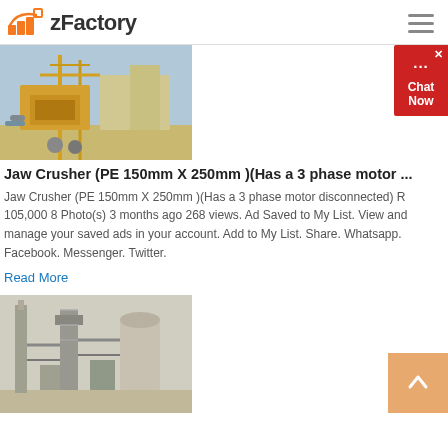zFactory
[Figure (photo): Photo of a yellow jaw crusher machine at an industrial site with steel framework and blue sky]
Jaw Crusher (PE 150mm X 250mm )(Has a 3 phase motor ...
Jaw Crusher (PE 150mm X 250mm )(Has a 3 phase motor disconnected) R 105,000 8 Photo(s) 3 months ago 268 views. Ad Saved to My List. View and manage your saved ads in your account. Add to My List. Share. Whatsapp. Facebook. Messenger. Twitter.
Read More
[Figure (photo): Photo of an industrial chemical or cement plant with tall towers, silos, and complex piping structures]